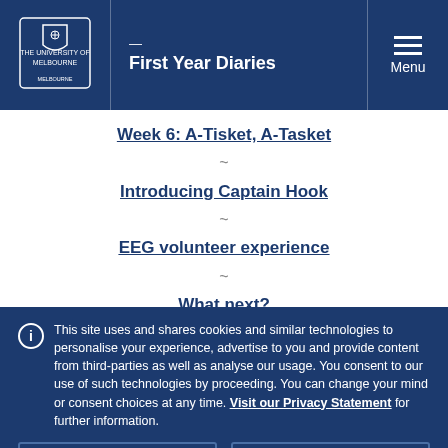First Year Diaries
Week 6: A-Tisket, A-Tasket
Introducing Captain Hook
EEG volunteer experience
What next?
This site uses and shares cookies and similar technologies to personalise your experience, advertise to you and provide content from third-parties as well as analyse our usage. You consent to our use of such technologies by proceeding. You can change your mind or consent choices at any time. Visit our Privacy Statement for further information.